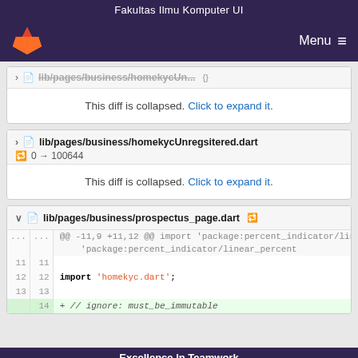Fakultas Ilmu Komputer UI
[Figure (screenshot): GitLab navigation bar with fox logo and Menu button]
lib/pages/business/homekycUnregsitered.dart  0 → 100644  This diff is collapsed. Click to expand it.
lib/pages/business/prospectus_page.dart  @@ -11,9 +11,12 @@ import 'package:percent_indicator/linear_percent  11  11  12  12  import 'homekyc.dart';  13  13  14 + // ignore: must_be_immutable
Excellence In Teamwork